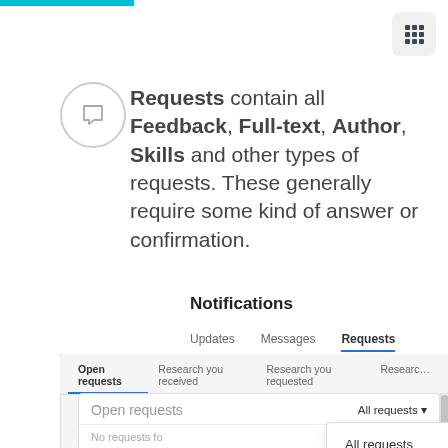[Figure (screenshot): Screenshot of a notification panel UI showing Requests tab with Open requests sub-tab selected and a dropdown showing All requests and Full-texts options]
Requests contain all Feedback, Full-text, Author, Skills and other types of requests. These generally require some kind of answer or confirmation.
Notifications
Updates | Messages | Requests
Open requests | Research you received | Research you requested | Research...
Open requests   All requests ▾
No requests fo...
All requests
Full-texts